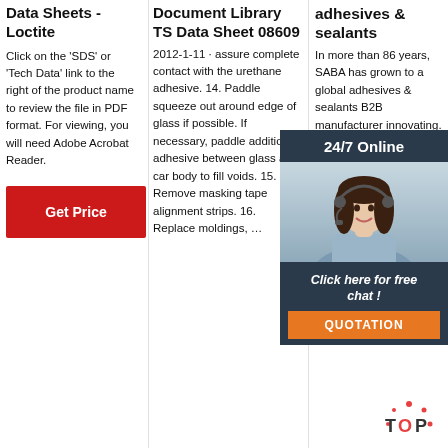Data Sheets - Loctite
Click on the 'SDS' or 'Tech Data' link to the right of the product name to review the file in PDF format. For viewing, you will need Adobe Acrobat Reader.
[Figure (other): Red 'Get Price' button]
Document Library TS Data Sheet 08609
2012-1-11 · assure complete contact with the urethane adhesive. 14. Paddle squeeze out around edge of glass if possible. If necessary, paddle additional adhesive between glass and car body to fill voids. 15. Remove masking tape alignment strips. 16. Replace moldings, …
adhesives & sealants
In more than 86 years, SABA has grown to a global adhesives & sealants B2B manufacturer innovating. At SABA, we never settle for the most technologies and raw materials, 10 product innovations per year is our goal for our customers. 200. employees world-
[Figure (other): 24/7 Online chat widget with woman wearing headset, 'Click here for free chat!' text and QUOTATION button in dark navy and orange colors]